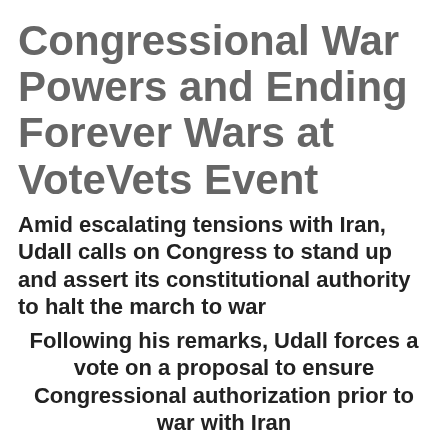Congressional War Powers and Ending Forever Wars at VoteVets Event
Amid escalating tensions with Iran, Udall calls on Congress to stand up and assert its constitutional authority to halt the march to war
Following his remarks, Udall forces a vote on a proposal to ensure Congressional authorization prior to war with Iran
WASHINGTON – Today, U.S. Senator Tom Udall (D-